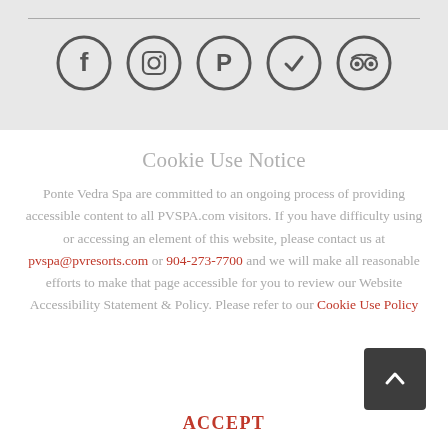[Figure (illustration): Row of 5 social media icons in dark gray circles: Facebook, Instagram, Pinterest, a checkmark badge, and TripAdvisor]
Cookie Use Notice
Ponte Vedra Spa are committed to an ongoing process of providing accessible content to all PVSPA.com visitors. If you have difficulty using or accessing an element of this website, please contact us at pvspa@pvresorts.com or 904-273-7700 and we will make all reasonable efforts to make that page accessible for you to review our Website Accessibility Statement & Policy. Please refer to our Cookie Use Policy
ACCEPT